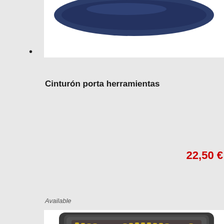[Figure (photo): Top portion of a product image showing a dark navy/blue oval or belt item against a white background]
•
Cinturón porta herramientas
22,50 €
Available
[Figure (photo): An open toolbox/kit case in dark gray showing a set of drill bits arranged in a row at the top and green-handled tools (wire stripper, wrench, punch) in the lower compartment]